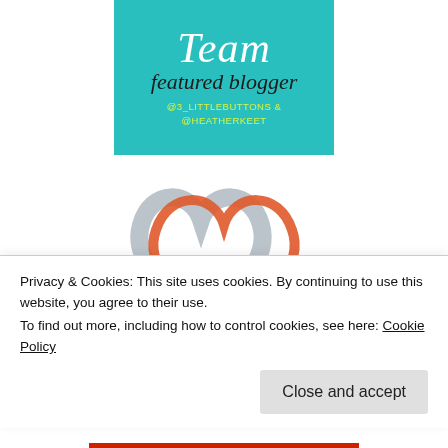[Figure (logo): Teal/turquoise square badge with handwritten script text 'Team', 'featured blogger', and '@3_LITTLEBUTTONS & @HEATHERKEET' in yellow-green text]
[Figure (logo): Heart logo made of overlapping orange and gray/blue heart outlines with text 'FEATURED ON' and '#fortheloveofBLOG' inside]
Privacy & Cookies: This site uses cookies. By continuing to use this website, you agree to their use.
To find out more, including how to control cookies, see here: Cookie Policy
Close and accept